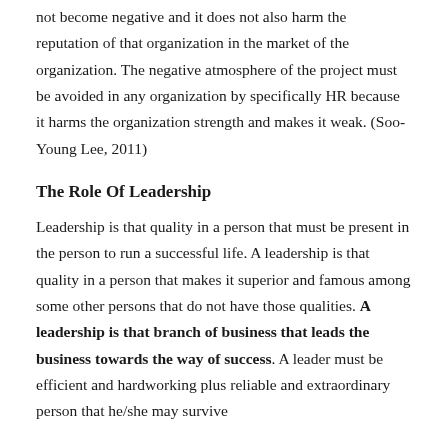not become negative and it does not also harm the reputation of that organization in the market of the organization. The negative atmosphere of the project must be avoided in any organization by specifically HR because it harms the organization strength and makes it weak. (Soo-Young Lee, 2011)
The Role Of Leadership
Leadership is that quality in a person that must be present in the person to run a successful life. A leadership is that quality in a person that makes it superior and famous among some other persons that do not have those qualities. A leadership is that branch of business that leads the business towards the way of success. A leader must be efficient and hardworking plus reliable and extraordinary person that he/she may survive